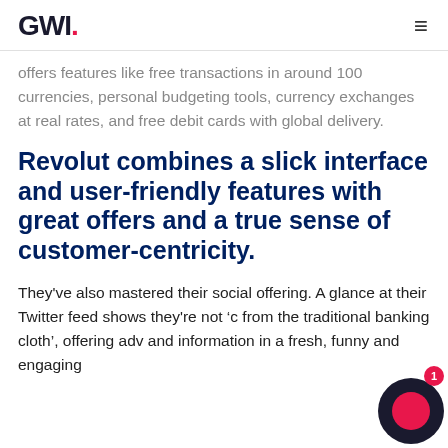GWI.
offers features like free transactions in around 100 currencies, personal budgeting tools, currency exchanges at real rates, and free debit cards with global delivery.
Revolut combines a slick interface and user-friendly features with great offers and a true sense of customer-centricity.
They've also mastered their social offering. A glance at their Twitter feed shows they're not 'c from the traditional banking cloth', offering adv and information in a fresh, funny and engaging